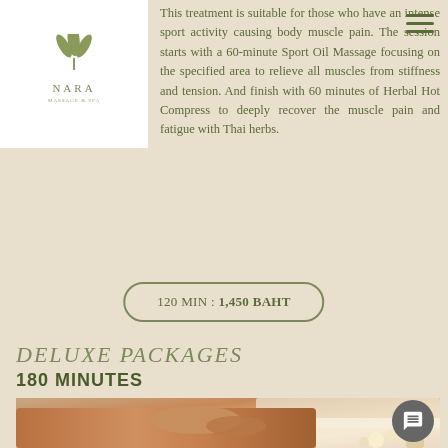[Figure (logo): NARA spa logo — stylized leaf/plant illustration above the word NARA, shown on white card overlay at top-left]
This treatment is suitable for those who have an intense sport activity causing body muscle pain. The session starts with a 60-minute Sport Oil Massage focusing on the specified area to relieve all muscles from stiffness and tension. And finish with 60 minutes of Herbal Hot Compress to deeply recover the muscle pain and fatigue with Thai herbs.
120 MIN : 1,450 BAHT
DELUXE PACKAGES
180 MINUTES
[Figure (photo): Close-up photo of a massage therapist's hands working on a client's back/shoulder area. White flowers (plumeria/frangipani) and massage oil bottles are visible in the lower portion of the image.]